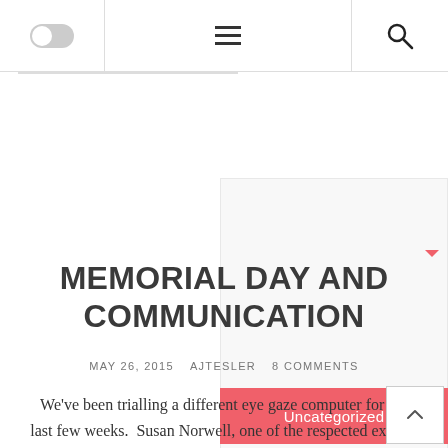[Toggle] [Menu] [Search]
Uncategorized
MEMORIAL DAY AND COMMUNICATION
MAY 26, 2015  AJTESLER  8 COMMENTS
We've been trialling a different eye gaze computer for the last few weeks. Susan Norwell, one of the respected experts in Rett Syndrome